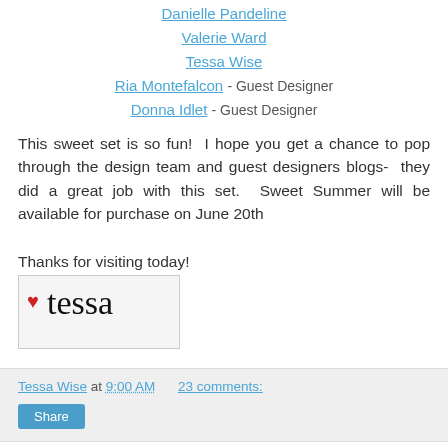Danielle Pandeline
Valerie Ward
Tessa Wise
Ria Montefalcon - Guest Designer
Donna Idlet - Guest Designer
This sweet set is so fun!  I hope you get a chance to pop through the design team and guest designers blogs-  they did a great job with this set.  Sweet Summer will be available for purchase on June 20th
Thanks for visiting today!
[Figure (illustration): Handwritten signature reading 'tessa' with a red glitter heart icon, on a light gray background in a rounded rectangle.]
Tessa Wise at 9:00 AM    23 comments:
Share
Wednesday, June 18, 2014